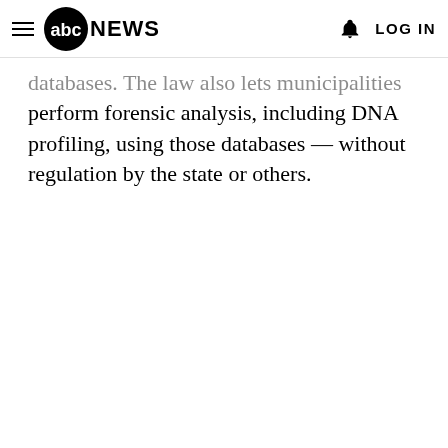ABC News — LOG IN
databases. The law also lets municipalities perform forensic analysis, including DNA profiling, using those databases — without regulation by the state or others.